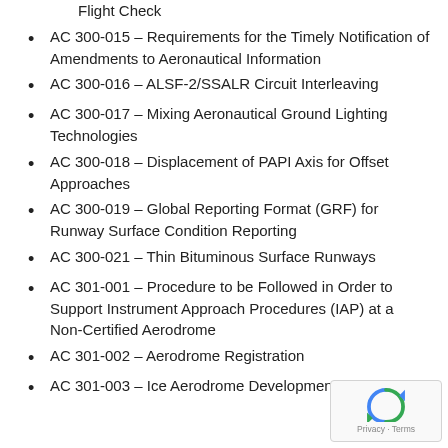AC 300-014 – Precision Approach Path Indicator Flight Check
AC 300-015 – Requirements for the Timely Notification of Amendments to Aeronautical Information
AC 300-016 – ALSF-2/SSALR Circuit Interleaving
AC 300-017 – Mixing Aeronautical Ground Lighting Technologies
AC 300-018 – Displacement of PAPI Axis for Offset Approaches
AC 300-019 – Global Reporting Format (GRF) for Runway Surface Condition Reporting
AC 300-021 – Thin Bituminous Surface Runways
AC 301-001 – Procedure to be Followed in Order to Support Instrument Approach Procedures (IAP) at a Non-Certified Aerodrome
AC 301-002 – Aerodrome Registration
AC 301-003 – Ice Aerodrome Development –